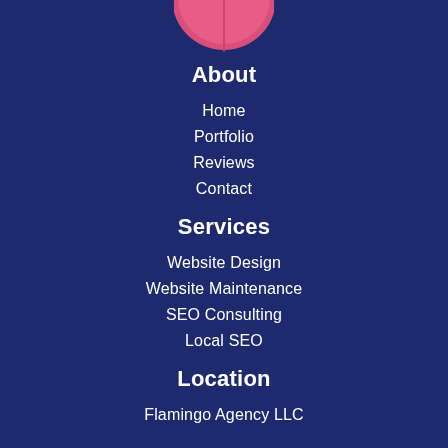[Figure (logo): Flamingo Agency logo — pink flamingo silhouette in a circle, partially cropped at top]
About
Home
Portfolio
Reviews
Contact
Services
Website Design
Website Maintenance
SEO Consulting
Local SEO
Location
Flamingo Agency LLC